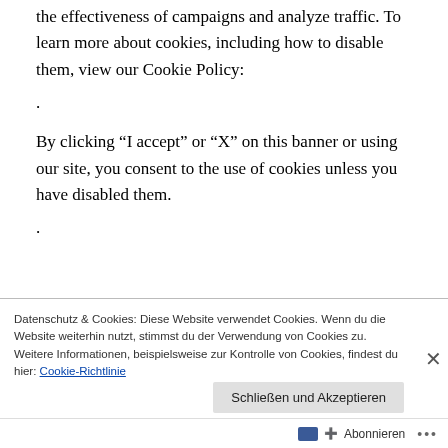the effectiveness of campaigns and analyze traffic. To learn more about cookies, including how to disable them, view our Cookie Policy:
.
By clicking “I accept” or “X” on this banner or using our site, you consent to the use of cookies unless you have disabled them.
.
Datenschutz & Cookies: Diese Website verwendet Cookies. Wenn du die Website weiterhin nutzt, stimmst du der Verwendung von Cookies zu. Weitere Informationen, beispielsweise zur Kontrolle von Cookies, findest du hier: Cookie-Richtlinie
Schließen und Akzeptieren